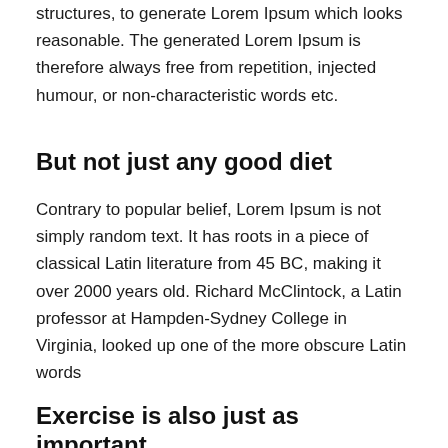structures, to generate Lorem Ipsum which looks reasonable. The generated Lorem Ipsum is therefore always free from repetition, injected humour, or non-characteristic words etc.
But not just any good diet
Contrary to popular belief, Lorem Ipsum is not simply random text. It has roots in a piece of classical Latin literature from 45 BC, making it over 2000 years old. Richard McClintock, a Latin professor at Hampden-Sydney College in Virginia, looked up one of the more obscure Latin words
Exercise is also just as important